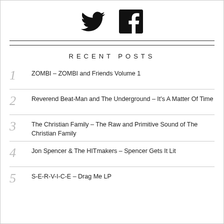[Figure (illustration): Twitter bird icon and Facebook 'f' icon side by side]
RECENT POSTS
1 ZOMBI – ZOMBI and Friends Volume 1
2 Reverend Beat-Man and The Underground – It's A Matter Of Time
3 The Christian Family – The Raw and Primitive Sound of The Christian Family
4 Jon Spencer & The HITmakers – Spencer Gets It Lit
5 S-E-R-V-I-C-E – Drag Me LP